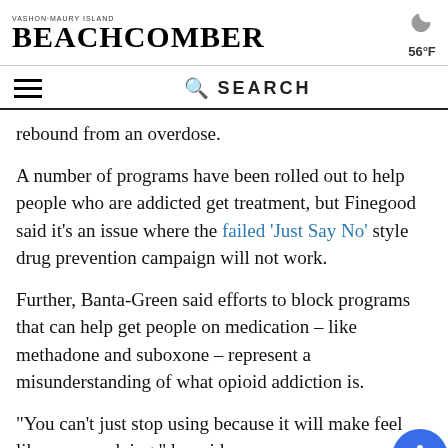Vashon-Maury Island BEACHCOMBER
rebound from an overdose.
A number of programs have been rolled out to help people who are addicted get treatment, but Finegood said it’s an issue where the failed ‘Just Say No’ style drug prevention campaign will not work.
Further, Banta-Green said efforts to block programs that can help get people on medication – like methadone and suboxone – represent a misunderstanding of what opioid addiction is.
“You can’t just stop using because it will make feel like you are dying,” he said.